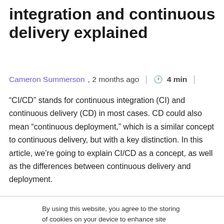integration and continuous delivery explained
Cameron Summerson, 2 months ago  |  🕐 4 min  |
“CI/CD” stands for continuous integration (CI) and continuous delivery (CD) in most cases. CD could also mean “continuous deployment,” which is a similar concept to continuous delivery, but with a key distinction. In this article, we’re going to explain CI/CD as a concept, as well as the differences between continuous delivery and deployment.
By using this website, you agree to the storing of cookies on your device to enhance site navigation, analyze site usage, and assist in our marketing efforts. View our Privacy Policy for more information.